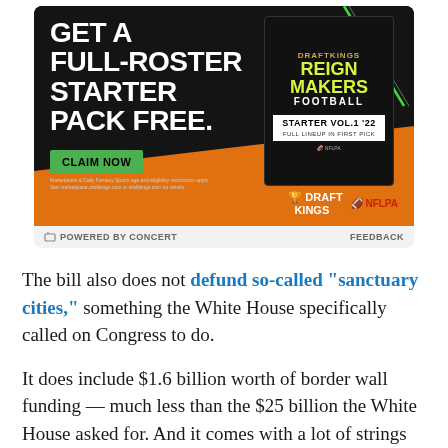[Figure (photo): DraftKings Reign Makers Football advertisement. Black background with orange floor, showing a product box for 'Reign Makers Football Starter Vol.1 22'. White bold text reads 'GET A FULL-ROSTER STARTER PACK FREE.' with a green 'CLAIM NOW' button. DraftKings and NFLPA logos visible at bottom right.]
POWERED BY CONCERT   FEEDBACK
The bill also does not defund so-called “sanctuary cities,” something the White House specifically called on Congress to do.
It does include $1.6 billion worth of border wall funding — much less than the $25 billion the White House asked for. And it comes with a lot of strings